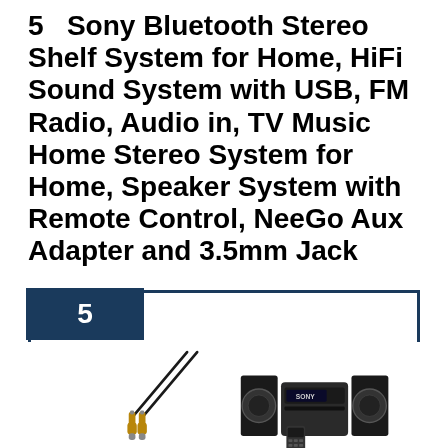5   Sony Bluetooth Stereo Shelf System for Home, HiFi Sound System with USB, FM Radio, Audio in, TV Music Home Stereo System for Home, Speaker System with Remote Control, NeeGo Aux Adapter and 3.5mm Jack
[Figure (photo): Product listing image showing number badge '5' on a dark navy bordered box containing a NeeGo 3.5mm aux cable on the left and a Sony Bluetooth stereo shelf system with remote control on the right]